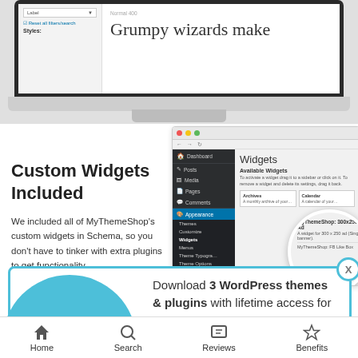[Figure (screenshot): Laptop screen showing a font/style picker with 'Grumpy wizards make' text preview]
Custom Widgets Included
We included all of MyThemeShop's custom widgets in Schema, so you don't have to tinker with extra plugins to get functionality.
[Figure (screenshot): WordPress admin Widgets panel showing Available Widgets including Archives, Calendar, and MyThemeShop custom widgets]
[Figure (infographic): Popup banner with download icon circle, text 'Download 3 WordPress themes & plugins with lifetime access for FREE!' and 'Click here to Join' link]
Home   Search   Reviews   Benefits